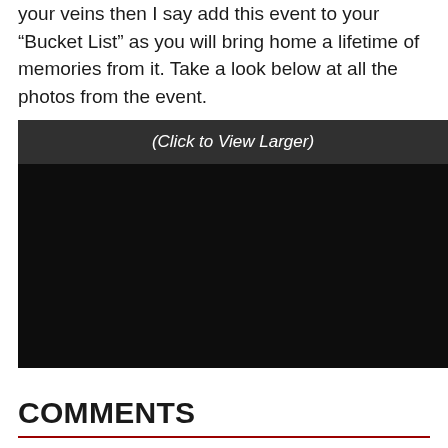your veins then I say add this event to your “Bucket List” as you will bring home a lifetime of memories from it. Take a look below at all the photos from the event.
[Figure (photo): Dark/black photo area with a semi-transparent overlay bar at the top containing the italic text '(Click to View Larger)']
COMMENTS